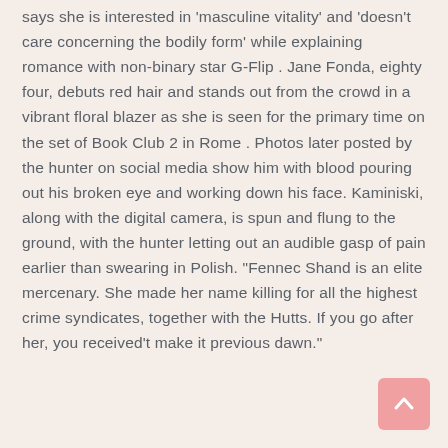says she is interested in 'masculine vitality' and 'doesn't care concerning the bodily form' while explaining romance with non-binary star G-Flip . Jane Fonda, eighty four, debuts red hair and stands out from the crowd in a vibrant floral blazer as she is seen for the primary time on the set of Book Club 2 in Rome . Photos later posted by the hunter on social media show him with blood pouring out his broken eye and working down his face. Kaminiski, along with the digital camera, is spun and flung to the ground, with the hunter letting out an audible gasp of pain earlier than swearing in Polish. "Fennec Shand is an elite mercenary. She made her name killing for all the highest crime syndicates, together with the Hutts. If you go after her, you received't make it previous dawn."